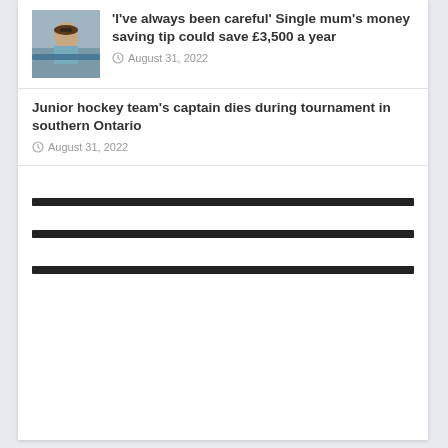[Figure (photo): Thumbnail photo of a woman wearing sunglasses outdoors near a blue car]
'I've always been careful' Single mum's money saving tip could save £3,500 a year
August 31, 2022
Junior hockey team's captain dies during tournament in southern Ontario
August 31, 2022
[Figure (other): Dark horizontal placeholder bar]
[Figure (other): Dark horizontal placeholder bar]
[Figure (other): Dark horizontal placeholder bar]